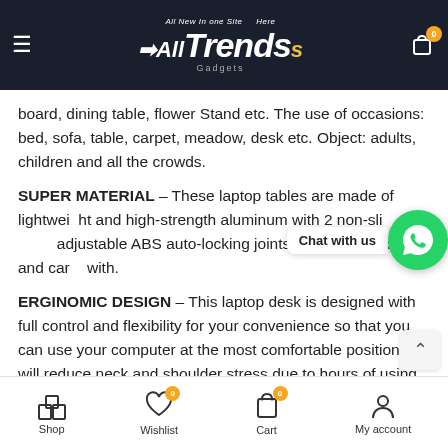All New In one Site Here — All Trends Gadgets (logo header with cart)
board, dining table, flower Stand etc. The use of occasions: bed, sofa, table, carpet, meadow, desk etc. Object: adults, children and all the crowds.
SUPER MATERIAL – These laptop tables are made of lightweight and high-strength aluminum with 2 non-slip adjustable ABS auto-locking joints. Convenient to use and carry with.
ERGINOMIC DESIGN – This laptop desk is designed with full control and flexibility for your convenience so that you can use your computer at the most comfortable position. It will reduce neck and shoulder stress due to hours of using your computers, benefits your health and make you free from the neck ache and shoulder pain caused by poor posture.
Shop | Wishlist 0 | Cart 0 | My account